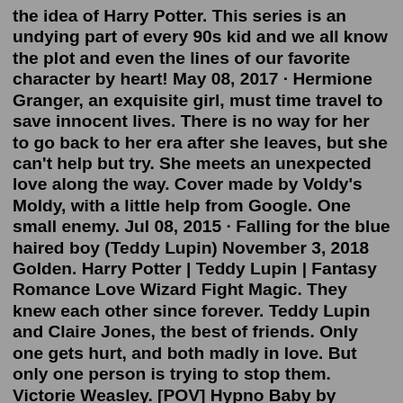the idea of Harry Potter. This series is an undying part of every 90s kid and we all know the plot and even the lines of our favorite character by heart! May 08, 2017 · Hermione Granger, an exquisite girl, must time travel to save innocent lives. There is no way for her to go back to her era after she leaves, but she can't help but try. She meets an unexpected love along the way. Cover made by Voldy's Moldy, with a little help from Google. One small enemy. Jul 08, 2015 · Falling for the blue haired boy (Teddy Lupin) November 3, 2018 Golden. Harry Potter | Teddy Lupin | Fantasy Romance Love Wizard Fight Magic. They knew each other since forever. Teddy Lupin and Claire Jones, the best of friends. Only one gets hurt, and both madly in love. But only one person is trying to stop them. Victorie Weasley. [POV] Hypno Baby by Cowkites, literature. Cowkites. 11 Comments. 402 Favourites. Card Captor Sakura: Arc of Baby Card Chapter 1 by CCDPA, literature. CCDPA. 25 Comments. 69 Favourites. CMSN: BABY TRAP!